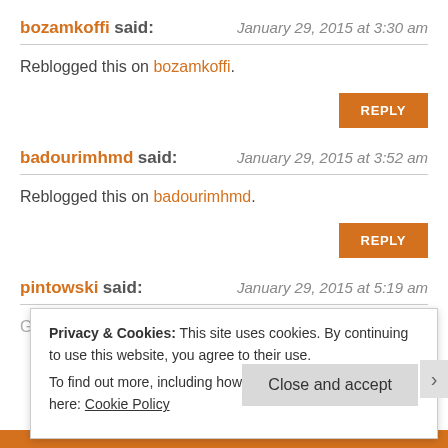bozamkoffi said: January 29, 2015 at 3:30 am
Reblogged this on bozamkoffi.
REPLY
badourimhmd said: January 29, 2015 at 3:52 am
Reblogged this on badourimhmd.
REPLY
pintowski said: January 29, 2015 at 5:19 am
Good observations.  Hey, just take easy on the bashing.
Privacy & Cookies: This site uses cookies. By continuing to use this website, you agree to their use. To find out more, including how to control cookies, see here: Cookie Policy
Close and accept